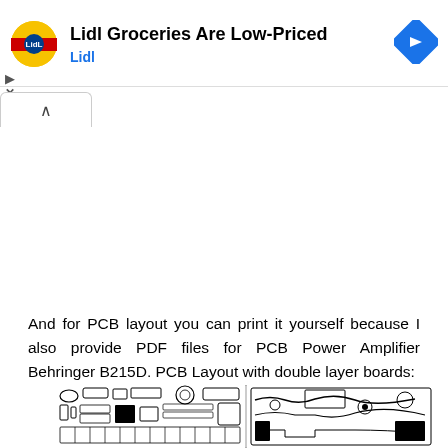[Figure (screenshot): Lidl advertisement banner with Lidl logo (yellow circle with red banner and 'Lidl' text), headline 'Lidl Groceries Are Low-Priced', brand name 'Lidl' in blue, and a blue navigation diamond icon on the right.]
And for PCB layout you can print it yourself because I also provide PDF files for PCB Power Amplifier Behringer B215D. PCB Layout with double layer boards:
[Figure (engineering-diagram): PCB layout diagram showing double layer circuit board for Behringer B215D Power Amplifier, showing component placements and copper traces in black and white.]